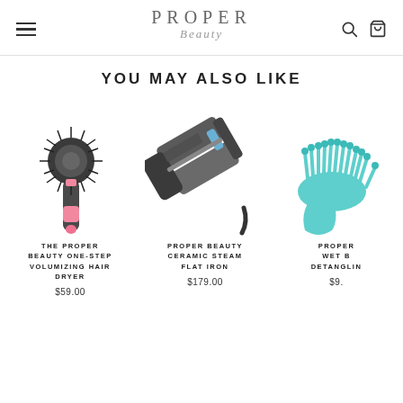PROPER Beauty — navigation header with hamburger menu, logo, search and cart icons
YOU MAY ALSO LIKE
[Figure (photo): The Proper Beauty One-Step Volumizing Hair Dryer — a round brush hair dryer with pink accents]
THE PROPER BEAUTY ONE-STEP VOLUMIZING HAIR DRYER
$59.00
[Figure (photo): Proper Beauty Ceramic Steam Flat Iron — a dark grey flat iron hair straightener]
PROPER BEAUTY CERAMIC STEAM FLAT IRON
$179.00
[Figure (photo): Proper Beauty Wet Brush Detangling Brush — a mint/teal colored detangling brush (partially cropped)]
PROPER WET B DETANGLIN
$9.